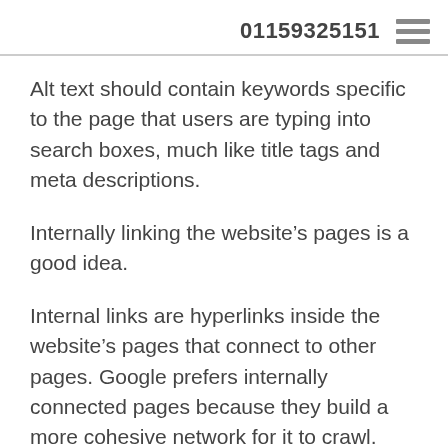01159325151
Alt text should contain keywords specific to the page that users are typing into search boxes, much like title tags and meta descriptions.
Internally linking the website’s pages is a good idea.
Internal links are hyperlinks inside the website’s pages that connect to other pages. Google prefers internally connected pages because they build a more cohesive network for it to crawl. Internal linking is also popular with Google because it improves the user experience.